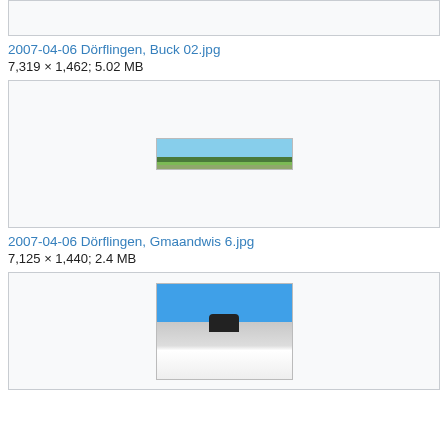[Figure (photo): Top cropped image box (partial, from previous section)]
2007-04-06 Dörflingen, Buck 02.jpg
7,319 × 1,462; 5.02 MB
[Figure (photo): Panoramic landscape photo of Dörflingen, Buck - wide low panorama showing fields, trees and buildings under blue sky]
2007-04-06 Dörflingen, Gmaandwis 6.jpg
7,125 × 1,440; 2.4 MB
[Figure (photo): Snow scene photo showing a person on a snowy mountain slope under blue sky]